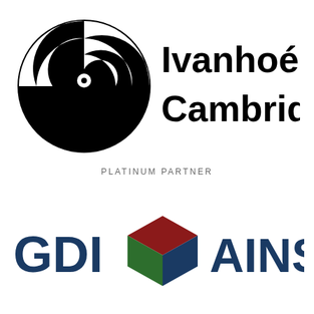[Figure (logo): Ivanhoé Cambridge logo: black circular swirl icon on the left and bold black text 'Ivanhoé Cambridge' on the right]
PLATINUM PARTNER
[Figure (logo): GDI Ainsworth logo: dark blue bold text 'GDI' on the left, a 3D cube icon with red top, green left face, and blue right face in the center, and dark blue bold text 'AINSWORTH' on the right]